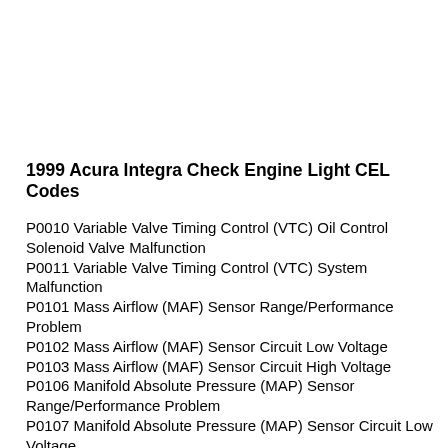1999 Acura Integra Check Engine Light CEL Codes
P0010 Variable Valve Timing Control (VTC) Oil Control Solenoid Valve Malfunction
P0011 Variable Valve Timing Control (VTC) System Malfunction
P0101 Mass Airflow (MAF) Sensor Range/Performance Problem
P0102 Mass Airflow (MAF) Sensor Circuit Low Voltage
P0103 Mass Airflow (MAF) Sensor Circuit High Voltage
P0106 Manifold Absolute Pressure (MAP) Sensor Range/Performance Problem
P0107 Manifold Absolute Pressure (MAP) Sensor Circuit Low Voltage